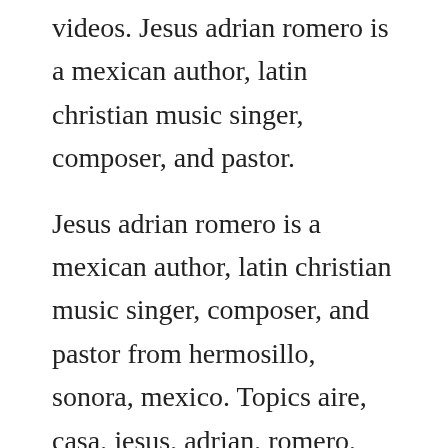videos. Jesus adrian romero is a mexican author, latin christian music singer, composer, and pastor.
Jesus adrian romero is a mexican author, latin christian music singer, composer, and pastor from hermosillo, sonora, mexico. Topics aire, casa, jesus, adrian, romero, musica, cristiana. By placing your order, you agree to our terms of use. Te dare lo mejor jesus adrian romero christian music. Te dare lo mejor by jesus adrian romero on amazon music unlimited.
Provided to youtube by tunecore no hay